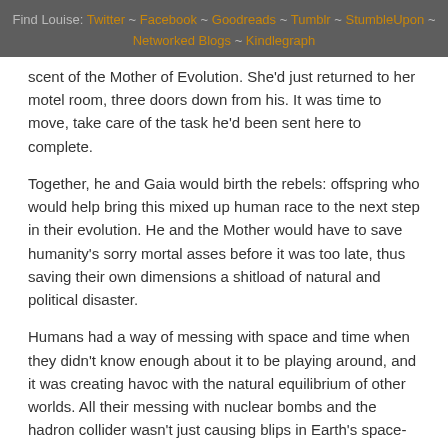Find Louise: Twitter ~ Facebook ~ Goodreads ~ Tumblr ~ StumbleUpon ~ Networked Blogs ~ Kindlegraph
scent of the Mother of Evolution. She'd just returned to her motel room, three doors down from his. It was time to move, take care of the task he'd been sent here to complete.
Together, he and Gaia would birth the rebels: offspring who would help bring this mixed up human race to the next step in their evolution. He and the Mother would have to save humanity's sorry mortal asses before it was too late, thus saving their own dimensions a shitload of natural and political disaster.
Humans had a way of messing with space and time when they didn't know enough about it to be playing around, and it was creating havoc with the natural equilibrium of other worlds. All their messing with nuclear bombs and the hadron collider wasn't just causing blips in Earth's space-time continuum. It was messing up harmony throughout existence.
The fae and snake people, part of a coalition of beings who created the human 'spirit,' were suffering the brunt of the Inter-Dimensional Diplomacy Senate's wrath for conducting the experiment of boosting the ape-creature's psyche, with just a small injection of their combined bio-